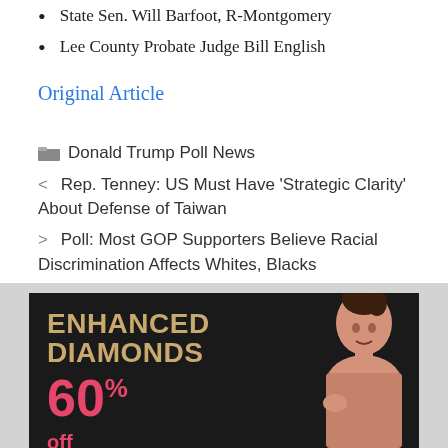State Sen. Will Barfoot, R-Montgomery
Lee County Probate Judge Bill English
Original Article
Donald Trump Poll News
< Rep. Tenney: US Must Have 'Strategic Clarity' About Defense of Taiwan
> Poll: Most GOP Supporters Believe Racial Discrimination Affects Whites, Blacks
[Figure (illustration): Advertisement banner for 'Enhanced Diamonds' showing bold tan text on black background with a woman in vintage pin-up style, and '60% off' in pink text]